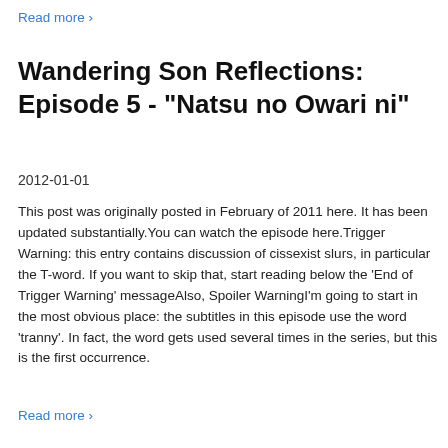Read more ›
Wandering Son Reflections: Episode 5 - "Natsu no Owari ni"
2012-01-01
This post was originally posted in February of 2011 here. It has been updated substantially.You can watch the episode here.Trigger Warning: this entry contains discussion of cissexist slurs, in particular the T-word. If you want to skip that, start reading below the 'End of Trigger Warning' messageAlso, Spoiler WarningI'm going to start in the most obvious place: the subtitles in this episode use the word 'tranny'. In fact, the word gets used several times in the series, but this is the first occurrence.
Read more ›